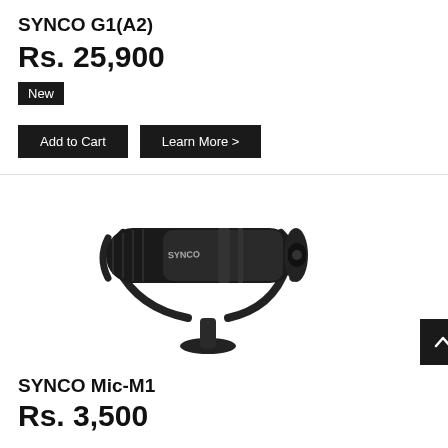SYNCO G1(A2)
Rs. 25,900
New
Add to Cart
Learn More >
[Figure (photo): SYNCO Mic-M1 shotgun microphone with shock mount, black, angled view]
SYNCO Mic-M1
Rs. 3,500